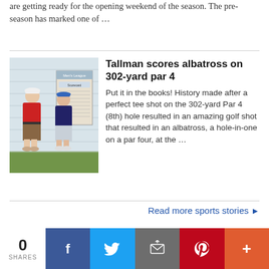are getting ready for the opening weekend of the season. The pre-season has marked one of …
[Figure (photo): Two men standing against a building wall next to a bulletin board with league schedules posted.]
Tallman scores albatross on 302-yard par 4
Put it in the books! History made after a perfect tee shot on the 302-yard Par 4 (8th) hole resulted in an amazing golf shot that resulted in an albatross, a hole-in-one on a par four, at the …
Read more sports stories ▶
0 SHARES | Facebook | Twitter | Email | Pinterest | More